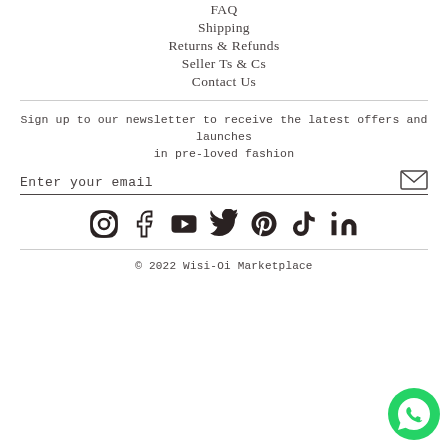FAQ
Shipping
Returns & Refunds
Seller Ts & Cs
Contact Us
Sign up to our newsletter to receive the latest offers and launches in pre-loved fashion
Enter your email
[Figure (other): Social media icons row: Instagram, Facebook, YouTube, Twitter, Pinterest, TikTok, LinkedIn]
© 2022 Wisi-Oi Marketplace